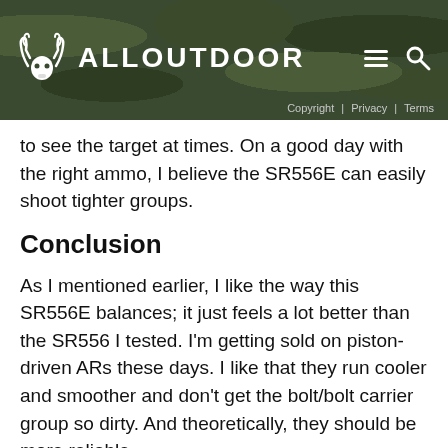ALLOUTDOOR | Copyright | Privacy | Terms
to see the target at times. On a good day with the right ammo, I believe the SR556E can easily shoot tighter groups.
Conclusion
As I mentioned earlier, I like the way this SR556E balances; it just feels a lot better than the SR556 I tested. I'm getting sold on piston-driven ARs these days. I like that they run cooler and smoother and don't get the bolt/bolt carrier group so dirty. And theoretically, they should be more reliable.
If I had to nit-pick the SR556E, it would be that there is no front sling attachment (but that's an easy fix). That said, I am going to have to convince the wife that I actually “need” one more AR-style rifle because this